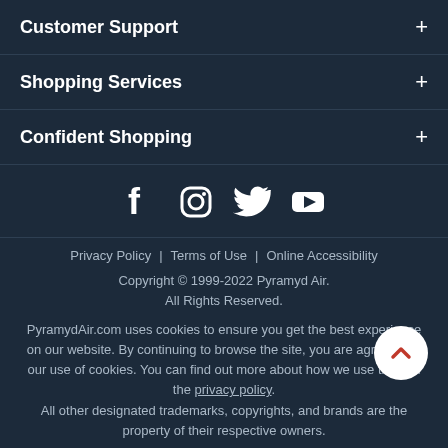Customer Support +
Shopping Services +
Confident Shopping +
[Figure (other): Social media icons: Facebook, Instagram, Twitter, YouTube]
Privacy Policy | Terms of Use | Online Accessibility
Copyright © 1999-2022 Pyramyd Air. All Rights Reserved.
PyramydAir.com uses cookies to ensure you get the best experience on our website. By continuing to browse the site, you are agreeing to our use of cookies. You can find out more about how we use them in the privacy policy. All other designated trademarks, copyrights, and brands are the property of their respective owners.